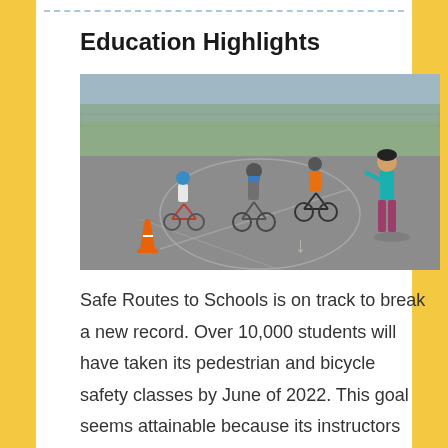Education Highlights
[Figure (photo): Children riding bicycles in a parking lot during a bicycle safety class, with an instructor in a teal shirt standing to the right and an orange traffic cone visible on the left.]
Safe Routes to Schools is on track to break a new record. Over 10,000 students will have taken its pedestrian and bicycle safety classes by June of 2022. This goal seems attainable because its instructors have taught